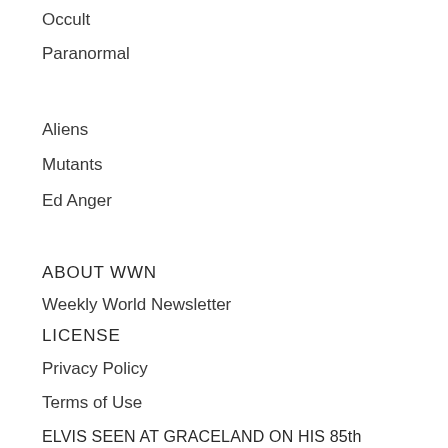Occult
Paranormal
Aliens
Mutants
Ed Anger
ABOUT WWN
Weekly World Newsletter
LICENSE
Privacy Policy
Terms of Use
ELVIS SEEN AT GRACELAND ON HIS 85th